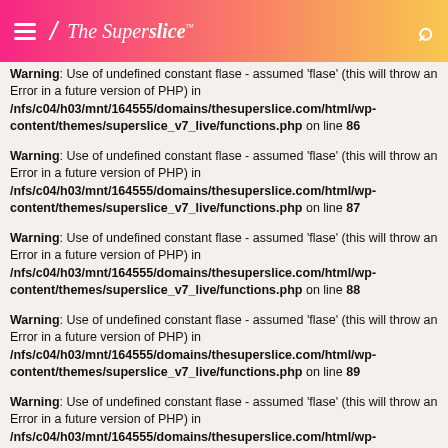The Superslice™
Warning: Use of undefined constant flase - assumed 'flase' (this will throw an Error in a future version of PHP) in /nfs/c04/h03/mnt/164555/domains/thesuperslice.com/html/wp-content/themes/superslice_v7_live/functions.php on line 86
Warning: Use of undefined constant flase - assumed 'flase' (this will throw an Error in a future version of PHP) in /nfs/c04/h03/mnt/164555/domains/thesuperslice.com/html/wp-content/themes/superslice_v7_live/functions.php on line 87
Warning: Use of undefined constant flase - assumed 'flase' (this will throw an Error in a future version of PHP) in /nfs/c04/h03/mnt/164555/domains/thesuperslice.com/html/wp-content/themes/superslice_v7_live/functions.php on line 88
Warning: Use of undefined constant flase - assumed 'flase' (this will throw an Error in a future version of PHP) in /nfs/c04/h03/mnt/164555/domains/thesuperslice.com/html/wp-content/themes/superslice_v7_live/functions.php on line 89
Warning: Use of undefined constant flase - assumed 'flase' (this will throw an Error in a future version of PHP) in /nfs/c04/h03/mnt/164555/domains/thesuperslice.com/html/wp-content/themes/superslice_v7_live/functions.php on line 90
Warning: Use of undefined constant flase - assumed 'flase' (this will throw an Error in a future version of PHP) in /nfs/c04/h03/mnt/164555/domains/thesuperslice.com/html/wp-content/themes/superslice_v7_live/functions.php on line 91